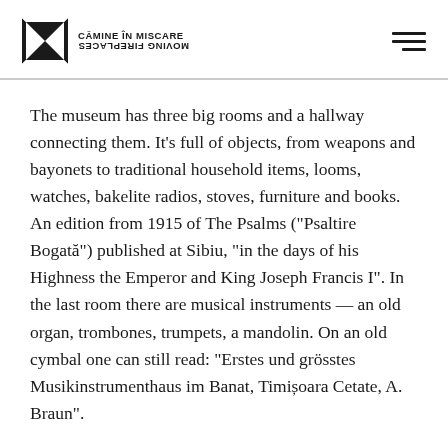CĂMINE ÎN MISCARE / MOVING FIREPLACES
The museum has three big rooms and a hallway connecting them. It’s full of objects, from weapons and bayonets to traditional household items, looms, watches, bakelite radios, stoves, furniture and books. An edition from 1915 of The Psalms (“Psaltire Bogată”) published at Sibiu, “in the days of his Highness the Emperor and King Joseph Francis I”. In the last room there are musical instruments — an old organ, trombones, trumpets, a mandolin. On an old cymbal one can still read: “Estes und grösstes Musikinstrumenthaus im Banat, Timişoara Cetate, A. Braun”.
On a small table there are service records from the Second World War, and a war widow certificate with the name of